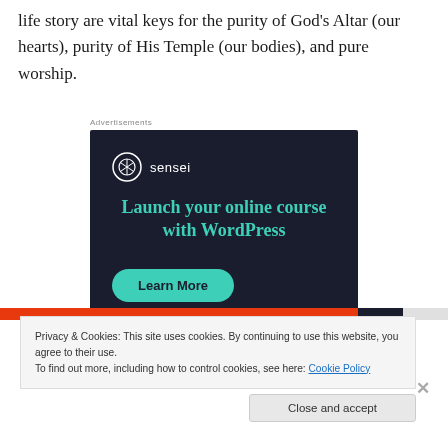life story are vital keys for the purity of God's Altar (our hearts), purity of His Temple (our bodies), and pure worship.
[Figure (infographic): Sensei advertisement: dark navy background with Sensei logo (tree icon in circle), headline 'Launch your online course with WordPress' in teal, and a teal 'Learn More' rounded button.]
Privacy & Cookies: This site uses cookies. By continuing to use this website, you agree to their use.
To find out more, including how to control cookies, see here: Cookie Policy
Close and accept